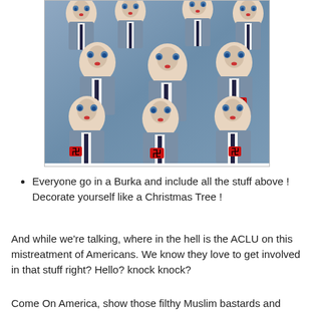[Figure (photo): A photo showing multiple identical-looking doll figures wearing grey suits with red and black swastika armbands and dark ties, arranged in rows filling the frame.]
Everyone go in a Burka and include all the stuff above !  Decorate yourself like a Christmas Tree !
And while we're talking, where in the hell is the ACLU on this mistreatment of Americans.   We know they love to get involved in that stuff right? Hello? knock knock?
Come On America, show those  filthy Muslim bastards and